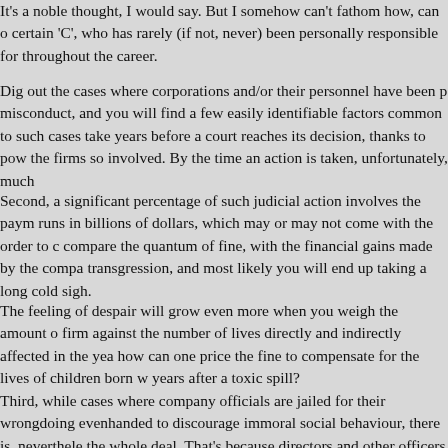It's a noble thought, I would say. But I somehow can't fathom how, can o certain 'C', who has rarely (if not, never) been personally responsible for throughout the career.
Dig out the cases where corporations and/or their personnel have been p misconduct, and you will find a few easily identifiable factors common to such cases take years before a court reaches its decision, thanks to pow the firms so involved. By the time an action is taken, unfortunately, much
Second, a significant percentage of such judicial action involves the paym runs in billions of dollars, which may or may not come with the order to c compare the quantum of fine, with the financial gains made by the compa transgression, and most likely you will end up taking a long cold sigh.
The feeling of despair will grow even more when you weigh the amount o firm against the number of lives directly and indirectly affected in the yea how can one price the fine to compensate for the lives of children born w years after a toxic spill?
Third, while cases where company officials are jailed for their wrongdoing evenhanded to discourage immoral social behaviour, there is, neverthele the whole deal. That's because directors and other officers of the firm are the company. This means that the loss suffered by the Câ€™s would b